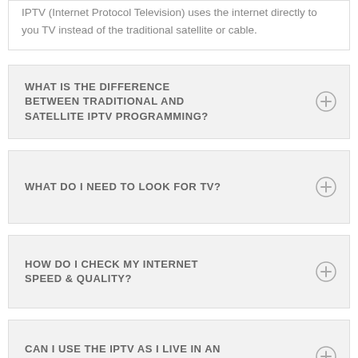IPTV (Internet Protocol Television) uses the internet directly to you TV instead of the traditional satellite or cable.
WHAT IS THE DIFFERENCE BETWEEN TRADITIONAL AND SATELLITE IPTV PROGRAMMING?
WHAT DO I NEED TO LOOK FOR TV?
HOW DO I CHECK MY INTERNET SPEED & QUALITY?
CAN I USE THE IPTV AS I LIVE IN AN APARTMENT?